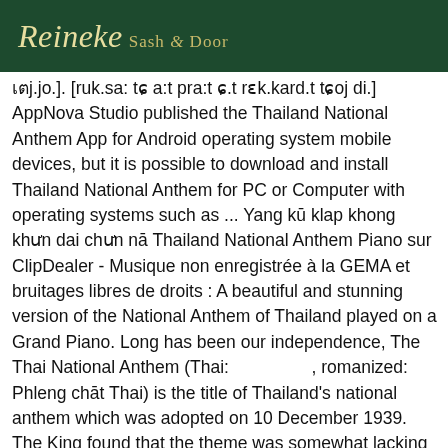Reineke Sash & Door
เตj.jo.]. [ruk.sa: tɕ a:t pra:t ɕ.t rɛk.kard.t tɕoj di.] AppNova Studio published the Thailand National Anthem App for Android operating system mobile devices, but it is possible to download and install Thailand National Anthem for PC or Computer with operating systems such as ... Yang kū klap khong khưn dai chưn nā Thailand National Anthem Piano sur ClipDealer - Musique non enregistrée à la GEMA et bruitages libres de droits : A beautiful and stunning version of the National Anthem of Thailand played on a Grand Piano. Long has been our independence, The Thai National Anthem (Thai: เพลงชาติไทย, romanized: Phleng chāt Thai) is the title of Thailand's national anthem which was adopted on 10 December 1939. The King found that the theme was somewhat lacking in the pomp and circumstance he had heard in the British anthem, and set to work to replace it. Thai Handwriting. THAILAND NATIONAL